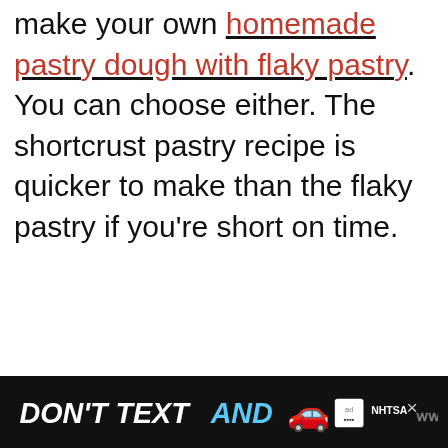make your own homemade pastry dough with flaky pastry. You can choose either. The shortcrust pastry recipe is quicker to make than the flaky pastry if you're short on time.
[Figure (screenshot): Advertisement banner: NHTSA 'Don't Text AND DRIVE' ad with red car emoji on black background, and a blue charity donation ad banner]